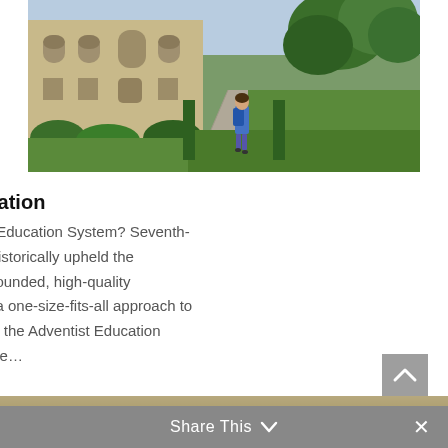[Figure (photo): A student with a blue backpack walking along a stone pathway toward trees, with a historic stone university building on the left and green lawns on both sides.]
Adventist Education
What is the Adventist Education System? Seventh-day Adventists have historically upheld the importance of a well-rounded, high-quality education. Instead of a one-size-fits-all approach to teaching and learning, the Adventist Education system operates on the…
[Figure (photo): Partial view of a person in a blazer carrying a bag, with blurred autumn foliage in the background.]
Share This ∨  ✕